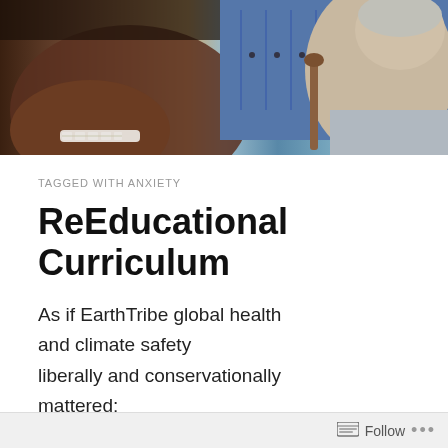[Figure (photo): Close-up photo of two people, one smiling closeup on left side (dark skin, braces visible) and another person on the right side (lighter skin, appears older), with blue lockers visible in the background]
TAGGED WITH ANXIETY
ReEducational Curriculum
As if EarthTribe global health and climate safety liberally and conservationally mattered:
Pedagogical Core Needs
Manifest integrity's neuro-sensory systemic